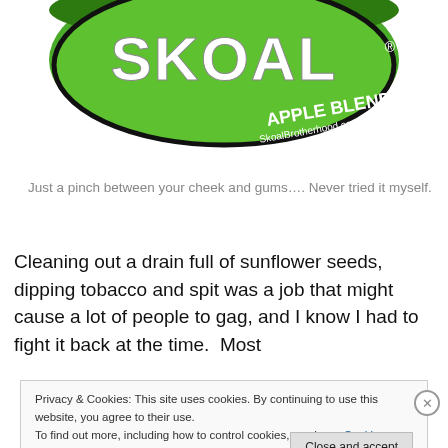[Figure (photo): Top of a Skoal Apple Blend chewing tobacco can, green label with 'SKOAL' in large white letters and 'APPLE BLEND' text visible, partially cropped]
Just a pinch between your cheek and gums…. Never tried it myself.
Cleaning out a drain full of sunflower seeds, dipping tobacco and spit was a job that might cause a lot of people to gag, and I know I had to fight it back at the time.  Most
Privacy & Cookies: This site uses cookies. By continuing to use this website, you agree to their use.
To find out more, including how to control cookies, see here: Cookie Policy
Close and accept